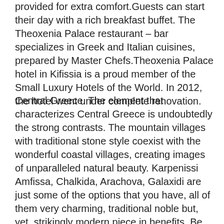provided for extra comfort.Guests can start their day with a rich breakfast buffet. The Theoxenia Palace restaurant – bar specializes in Greek and Italian cuisines, prepared by Master Chefs.Theoxenia Palace hotel in Kifissia is a proud member of the Small Luxury Hotels of the World. In 2012, the hotel went under complete renovation.
Central Greece. The element that characterizes Central Greece is undoubtedly the strong contrasts. The mountain villages with traditional stone style coexist with the wonderful coastal villages, creating images of unparalleled natural beauty. Karpenissi Amfissa, Chalkida, Arachova, Galaxidi are just some of the options that you have, all of them very charming, traditional noble but, yet, strikingly modern piece in benefits. Be our guest in Theoxenia Palace and discover history and myth sit side by side with unsullied nature, great mountains, inviting you to imbibe on their fresh air and accept their many challenges. Theoxenia Palace is located at Filadelfeos 2 Street, Kifissia, Athens, 145 62, Greece, and from here as the ideal staring point you can discover and enjoy a wealth of archaeological sites, fascinating culture, spectacular coastline and picture-perfect scenery! Plan your visit in Central Greece for